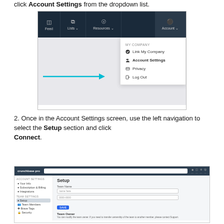1. From the top navigation, select Account and click Account Settings from the dropdown list.
[Figure (screenshot): Screenshot of a web application navigation bar showing Account dropdown menu with options: MY COMPANY section, Link My Company, Account Settings (highlighted with cyan arrow), Privacy, Log Out]
2. Once in the Account Settings screen, use the left navigation to select the Setup section and click Connect.
[Figure (screenshot): Screenshot of Crunchbase Pro Account Settings page showing Setup section with Team Name field, SAVE button, Team Owner section, and Shared CRM Connection section with CONNECT button]